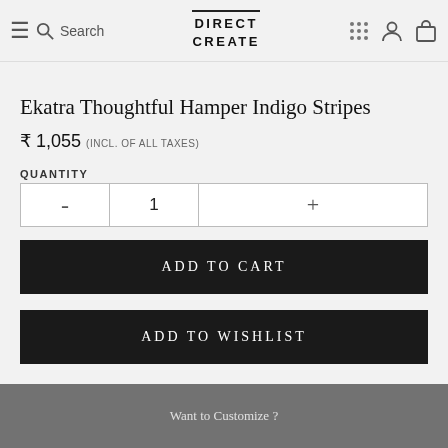DirectCreate — Search, account, cart navigation
Ekatra Thoughtful Hamper Indigo Stripes
₹ 1,055 (INCL. OF ALL TAXES)
QUANTITY
- 1 +
ADD TO CART
ADD TO WISHLIST
Want to Customize ?